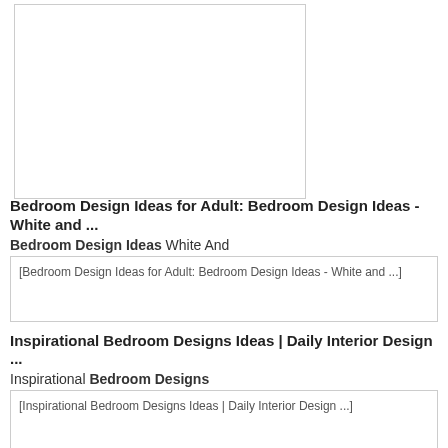[Figure (photo): Blank/white image placeholder box in the top-left area of the page]
Bedroom Design Ideas for Adult: Bedroom Design Ideas - White and ...
Bedroom Design Ideas White And
[Figure (screenshot): Broken image placeholder showing alt text: Bedroom Design Ideas for Adult: Bedroom Design Ideas - White and ...]
Inspirational Bedroom Designs Ideas | Daily Interior Design ...
Inspirational Bedroom Designs
[Figure (screenshot): Broken image placeholder showing alt text: Inspirational Bedroom Designs Ideas | Daily Interior Design ...]
Five Modern Bedroom Design Ideas - SweetyDesign.